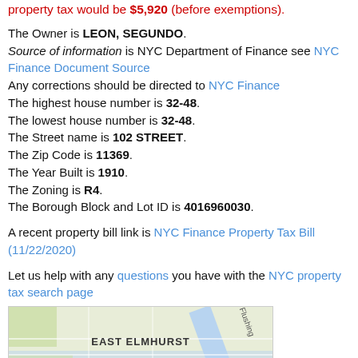property tax would be $5,920 (before exemptions).
The Owner is LEON, SEGUNDO. Source of information is NYC Department of Finance see NYC Finance Document Source Any corrections should be directed to NYC Finance The highest house number is 32-48. The lowest house number is 32-48. The Street name is 102 STREET. The Zip Code is 11369. The Year Built is 1910. The Zoning is R4. The Borough Block and Lot ID is 4016960030.
A recent property bill link is NYC Finance Property Tax Bill (11/22/2020)
Let us help with any questions you have with the NYC property tax search page
[Figure (map): Google Maps showing East Elmhurst neighborhood with Flushing area visible]